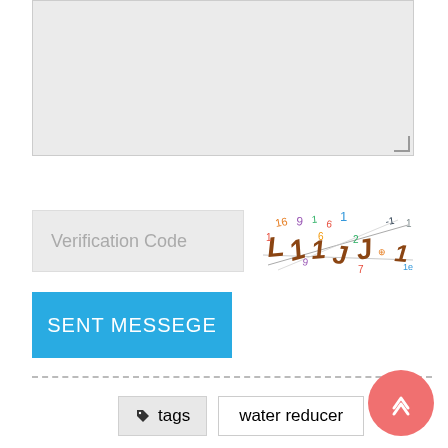[Figure (screenshot): Gray textarea input box (partially visible top of page)]
Verification Code
[Figure (photo): CAPTCHA image with distorted numbers and letters in various colors on white background]
SENT MESSEGE
tags   water reducer
polycarboxylic acid superplasticizer